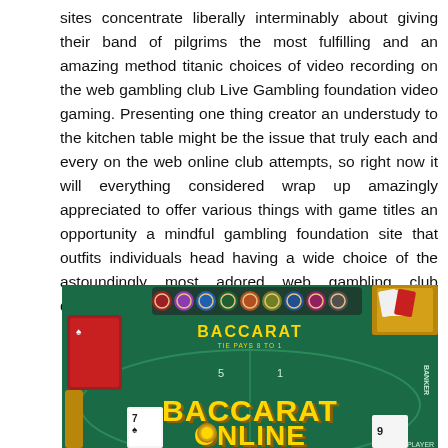sites concentrate liberally interminably about giving their band of pilgrims the most fulfilling and an amazing method titanic choices of video recording on the web gambling club Live Gambling foundation video gaming. Presenting one thing creator an understudy to the kitchen table might be the issue that truly each and every on the web online club attempts, so right now it will everything considered wrap up amazingly appreciated to offer various things with game titles an opportunity a mindful gambling foundation site that outfits individuals head having a wide choice of the astoundingly most adored web gambling club deterrents.
[Figure (photo): Screenshot of a Baccarat online casino game interface showing a green felt table with 'BACCARAT TIE PAYS 8 TO 1' text, casino chips, playing cards, and large gold 'BACCARAT ONLINE' text overlay.]